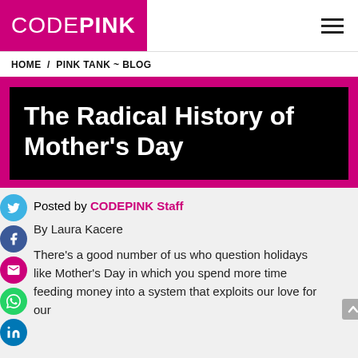CODEPINK
HOME / PINK TANK ~ BLOG
The Radical History of Mother's Day
Posted by CODEPINK Staff
By Laura Kacere
There's a good number of us who question holidays like Mother's Day in which you spend more time feeding money into a system that exploits our love for our